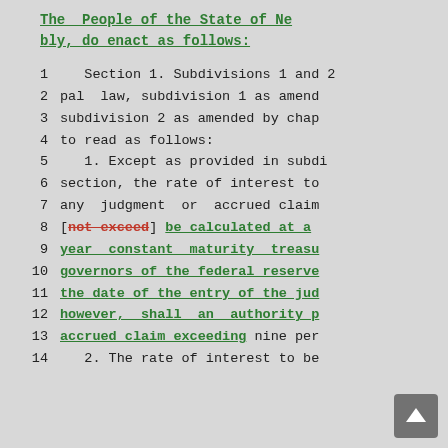The People of the State of New York, represented in Senate and Assembly, do enact as follows:
1    Section 1. Subdivisions 1 and 2
2  pal  law, subdivision 1 as amended
3  subdivision 2 as amended by chap
4  to read as follows:
5    1. Except as provided in subdi
6  section, the rate of interest to
7  any  judgment  or  accrued claim
8  [not exceed] be calculated at a
9  year constant maturity treasu
10  governors of the federal reserve
11  the date of the entry of the jud
12  however, shall an authority p
13  accrued claim exceeding nine per
14    2. The rate of interest to be